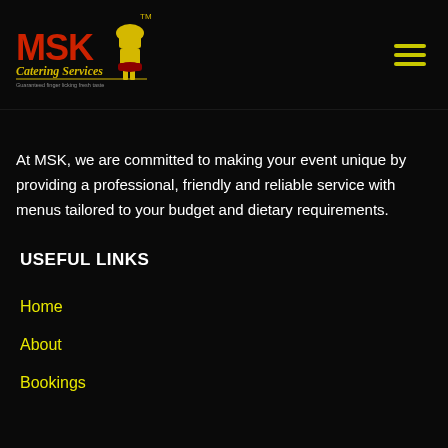[Figure (logo): MSK Catering Services logo with chef illustration in yellow and red on black background]
At MSK, we are committed to making your event unique by providing a professional, friendly and reliable service with menus tailored to your budget and dietary requirements.
USEFUL LINKS
Home
About
Bookings